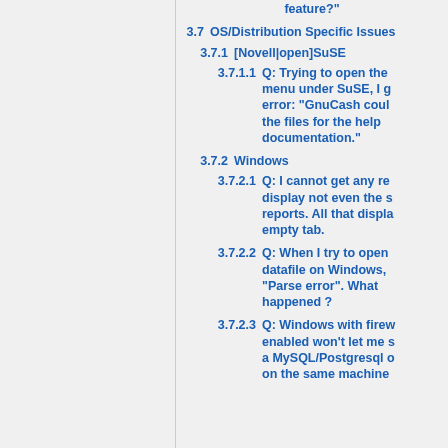feature?"
3.7  OS/Distribution Specific Issues
3.7.1  [Novell|open]SuSE
3.7.1.1  Q: Trying to open the menu under SuSE, I g error: "GnuCash coul the files for the help documentation."
3.7.2  Windows
3.7.2.1  Q: I cannot get any re display not even the s reports. All that displa empty tab.
3.7.2.2  Q: When I try to open datafile on Windows, "Parse error". What happened ?
3.7.2.3  Q: Windows with firew enabled won't let me s a MySQL/Postgresql o on the same machine